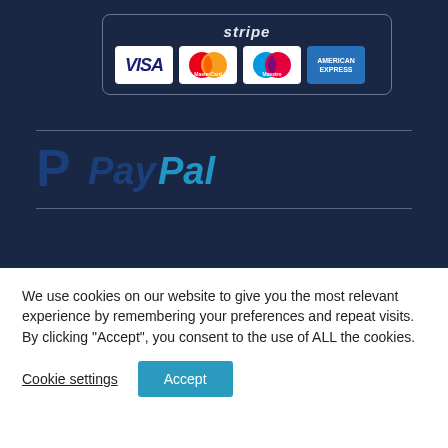[Figure (logo): Stripe payment widget showing Stripe logo and credit card logos: VISA, MasterCard, Maestro, American Express on a dark navy background]
[Figure (logo): PayPal logo on dark navy background, between two horizontal divider lines]
We use cookies on our website to give you the most relevant experience by remembering your preferences and repeat visits. By clicking “Accept”, you consent to the use of ALL the cookies.
Cookie settings
Accept